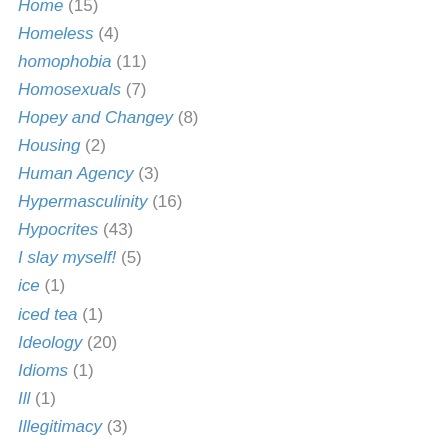Home (15)
Homeless (4)
homophobia (11)
Homosexuals (7)
Hopey and Changey (8)
Housing (2)
Human Agency (3)
Hypermasculinity (16)
Hypocrites (43)
I slay myself! (5)
ice (1)
iced tea (1)
Ideology (20)
Idioms (1)
Ill (1)
Illegitimacy (3)
Illnesses (2)
Immature (5)
Insurance (1)
Integrity (8)